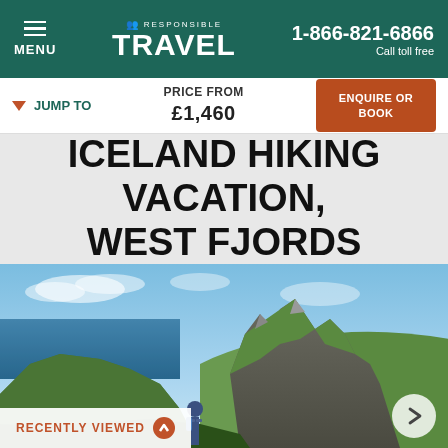Responsible Travel | 1-866-821-6866 | Call toll free
JUMP TO | PRICE FROM £1,460 | ENQUIRE OR BOOK
ICELAND HIKING VACATION, WEST FJORDS
[Figure (photo): Hiker on cliff edge overlooking dramatic green rocky fjord mountains with ocean and blue sky in West Fjords, Iceland]
RECENTLY VIEWED